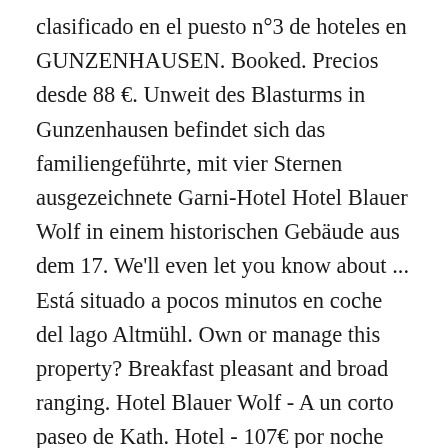clasificado en el puesto n°3 de hoteles en GUNZENHAUSEN. Booked. Precios desde 88 €. Unweit des Blasturms in Gunzenhausen befindet sich das familiengeführte, mit vier Sternen ausgezeichnete Garni-Hotel Hotel Blauer Wolf in einem historischen Gebäude aus dem 17. We'll even let you know about ... Está situado a pocos minutos en coche del lago Altmühl. Own or manage this property? Breakfast pleasant and broad ranging. Hotel Blauer Wolf - A un corto paseo de Kath. Hotel - 107€ por noche (precio medio) - Frickenfelden - Servicios: Internet, Aire acondicionado, TV, TV Satélite o por Cable, No fumadores, Calefacción Huéspedes: 1 Estancia mínima: 1 noche(s) Reserva online - Reserva el alquiler